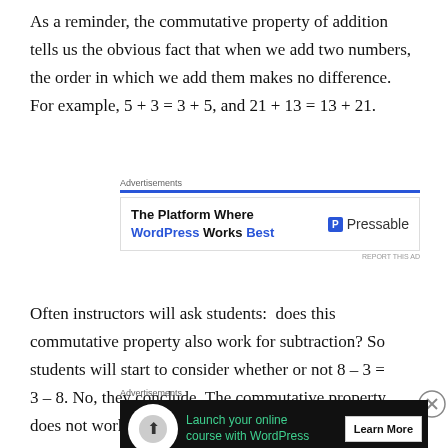As a reminder, the commutative property of addition tells us the obvious fact that when we add two numbers, the order in which we add them makes no difference. For example, 5 + 3 = 3 + 5, and 21 + 13 = 13 + 21.
[Figure (other): Advertisement block: blue bar with 'The Platform Where WordPress Works Best' and Pressable logo]
Often instructors will ask students:  does this commutative property also work for subtraction? So students will start to consider whether or not 8 – 3 = 3 – 8. No, they conclude. The commutative property does not work for subtraction.
[Figure (other): Advertisement block: dark background with 'Launch your online course with WordPress' and Learn More button]